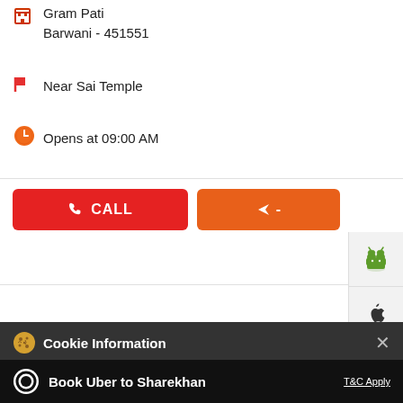Gram Pati
Barwani - 451551
Near Sai Temple
Opens at 09:00 AM
[Figure (screenshot): CALL button (red) and direction button (orange) with icons]
[Figure (screenshot): Side panel with Android and Apple app icons]
Cookie Information
On our website, we use services (including from third-party providers) that help us to improve our online presence (optimization of website) and to display content that is geared to their interests. We need your consent before being able to use these services.
Book Uber to Sharekhan
T&C Apply